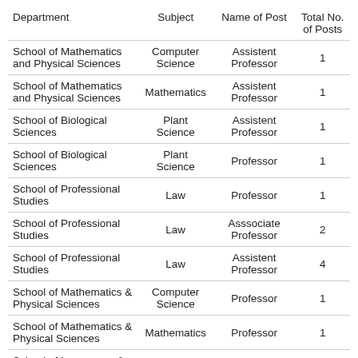| Department | Subject | Name of Post | Total No. of Posts |
| --- | --- | --- | --- |
| School of Mathematics and Physical Sciences | Computer Science | Assistent Professor | 1 |
| School of Mathematics and Physical Sciences | Mathematics | Assistent Professor | 1 |
| School of Biological Sciences | Plant Science | Assistent Professor | 1 |
| School of Biological Sciences | Plant Science | Professor | 1 |
| School of Professional Studies | Law | Professor | 1 |
| School of Professional Studies | Law | Asssociate Professor | 2 |
| School of Professional Studies | Law | Assistent Professor | 4 |
| School of Mathematics & Physical Sciences | Computer Science | Professor | 1 |
| School of Mathematics & Physical Sciences | Mathematics | Professor | 1 |
| School of Languages & |  |  |  |